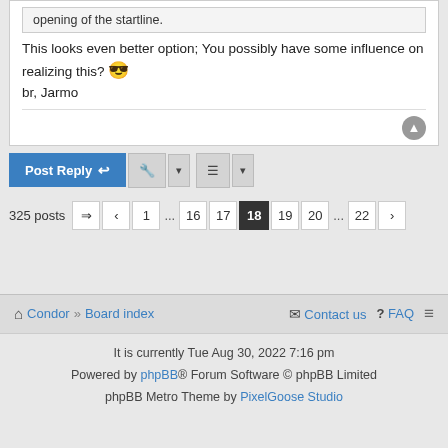opening of the startline.
This looks even better option; You possibly have some influence on realizing this? 😎
br, Jarmo
Post Reply
325 posts  1 ... 16 17 18 19 20 ... 22
Condor » Board index   Contact us  FAQ
It is currently Tue Aug 30, 2022 7:16 pm
Powered by phpBB® Forum Software © phpBB Limited
phpBB Metro Theme by PixelGoose Studio